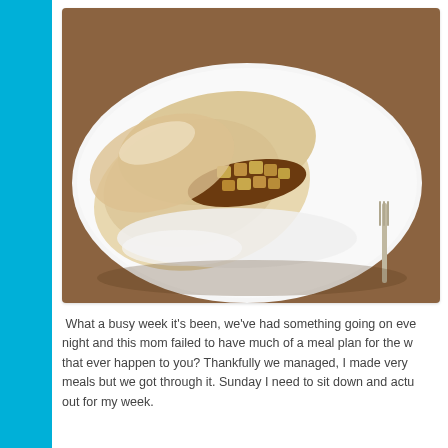[Figure (photo): A food photo showing a bread roll or biscuit filled with caramelized apple chunks and sauce, placed on a white plate with a fork visible at the right edge. The background is a wooden table.]
What a busy week it's been, we've had something going on every night and this mom failed to have much of a meal plan for the week, does that ever happen to you? Thankfully we managed, I made very simple meals but we got through it. Sunday I need to sit down and actually plan out for my week.